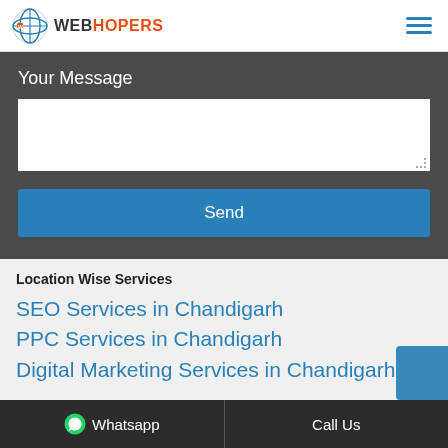WEBHOPERS
Your Message
Send
Location Wise Services
SEO Services in Chandigarh
PPC Services in Chandigarh
Digital Marketing Services in Chandigarh
Whatsapp   Call Us